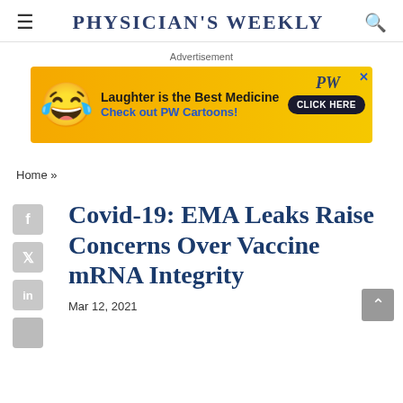Physician's Weekly
Advertisement
[Figure (other): Advertisement banner: laughing emoji, text 'Laughter is the Best Medicine Check out PW Cartoons! CLICK HERE', PW logo]
Home »
Covid-19: EMA Leaks Raise Concerns Over Vaccine mRNA Integrity
Mar 12, 2021